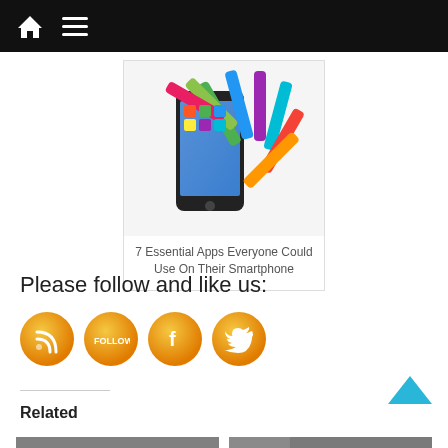Navigation bar with home icon and menu icon
[Figure (screenshot): Smartphone with colorful app icons flying out of the screen]
7 Essential Apps Everyone Could Use On Their Smartphone
Please follow and like us:
[Figure (infographic): Four orange circular social media icons: RSS feed, Follow (bloglovin), Facebook, Twitter]
Related
[Figure (photo): Two related article thumbnail images at the bottom]